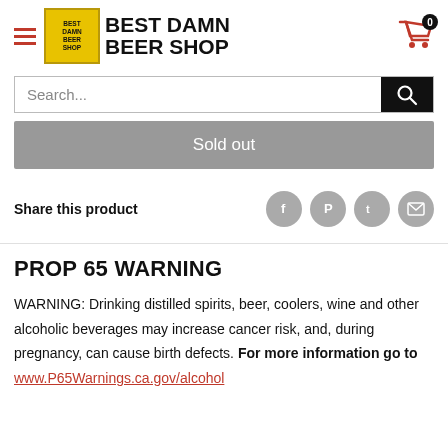[Figure (logo): Best Damn Beer Shop logo with yellow box and store name text]
Search...
Sold out
Share this product
PROP 65 WARNING
WARNING: Drinking distilled spirits, beer, coolers, wine and other alcoholic beverages may increase cancer risk, and, during pregnancy, can cause birth defects. For more information go to www.P65Warnings.ca.gov/alcohol